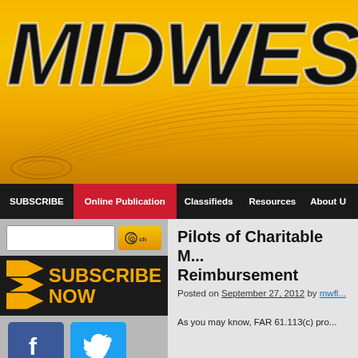[Figure (logo): Midwest Flyer magazine logo banner with yellow/gold gradient background, curved lines, and bold italic black text reading MIDWEST FLY (cropped)]
SUBSCRIBE | Online Publication | Classifieds | Resources | About U...
[Figure (screenshot): Search box with yellow search button showing 60ch icon]
[Figure (infographic): SUBSCRIBE NOW banner with orange arrow chevrons on dark background]
[Figure (logo): Facebook logo icon (blue)]
[Figure (logo): Twitter logo icon (light blue)]
Pilots of Charitable M... Reimbursement
Posted on September 27, 2012 by mwfl...
As you may know, FAR 61.113(c) pro...